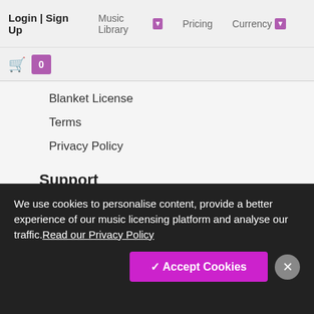Login | Sign Up   Music Library ▼   Pricing   Currency ▼
Blanket License
Terms
Privacy Policy
Support
Discounts & Rewards
Affiliate Program
Testimonials
Contact us
Connect with us
We use cookies to personalise content, provide a better experience of our music licensing platform and analyse our traffic.Read our Privacy Policy
✓ Accept Cookies